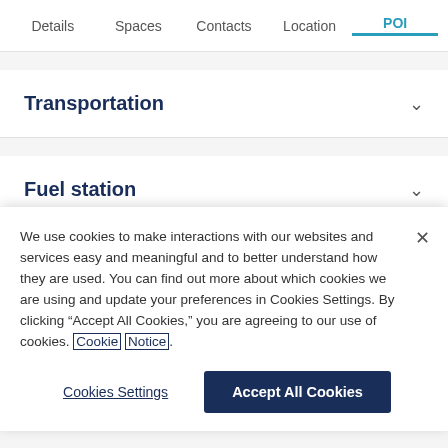Details | Spaces | Contacts | Location | POI
Transportation
Fuel station
Parking
We use cookies to make interactions with our websites and services easy and meaningful and to better understand how they are used. You can find out more about which cookies we are using and update your preferences in Cookies Settings. By clicking “Accept All Cookies,” you are agreeing to our use of cookies. Cookie Notice.
Cookies Settings
Accept All Cookies